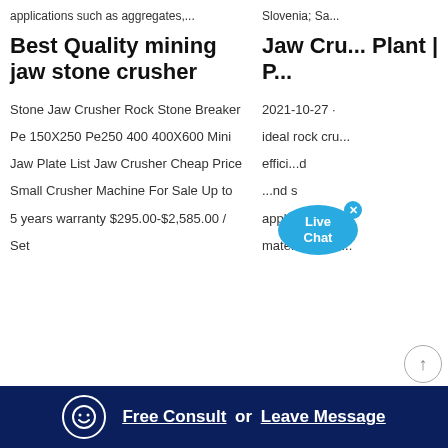applications such as aggregates,...
Slovenia; Sa...
Best Quality mining jaw stone crusher
Jaw Crusher Plant | P...
Stone Jaw Crusher Rock Stone Breaker Pe 150X250 Pe250 400 400X600 Mini Jaw Plate List Jaw Crusher Cheap Price Small Crusher Machine For Sale Up to 5 years warranty $295.00-$2,585.00 / Set
2021-10-27 · ideal rock cru effici...nd ...applications d materials with...
[Figure (other): Live Chat speech bubble button with close X]
[Figure (other): Scroll to top button with upward arrow]
Free Consult or Leave Message